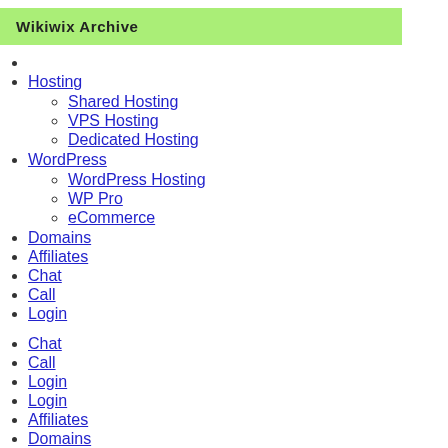Wikiwix Archive
Hosting
Shared Hosting
VPS Hosting
Dedicated Hosting
WordPress
WordPress Hosting
WP Pro
eCommerce
Domains
Affiliates
Chat
Call
Login
Chat
Call
Login
Login
Affiliates
Domains
WordPress